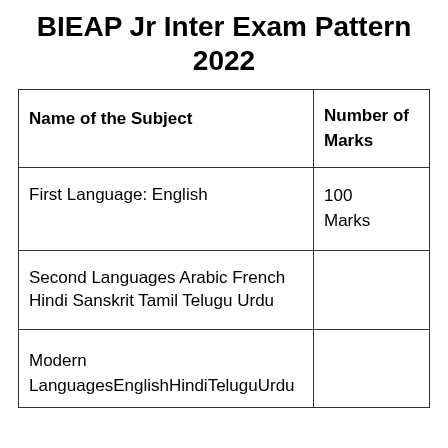BIEAP Jr Inter Exam Pattern 2022
| Name of the Subject | Number of Marks |
| --- | --- |
| First Language: English | 100 Marks |
| Second Languages Arabic French Hindi Sanskrit Tamil Telugu Urdu |  |
| Modern LanguagesEnglishHindiTeluguUrdu |  |